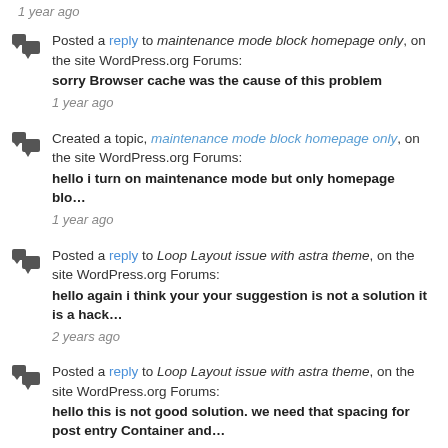1 year ago
Posted a reply to maintenance mode block homepage only, on the site WordPress.org Forums:
sorry Browser cache was the cause of this problem
1 year ago
Created a topic, maintenance mode block homepage only, on the site WordPress.org Forums:
hello i turn on maintenance mode but only homepage blo…
1 year ago
Posted a reply to Loop Layout issue with astra theme, on the site WordPress.org Forums:
hello again i think your your suggestion is not a solution it is a hack…
2 years ago
Posted a reply to Loop Layout issue with astra theme, on the site WordPress.org Forums:
hello this is not good solution. we need that spacing for post entry Container and…
2 years ago